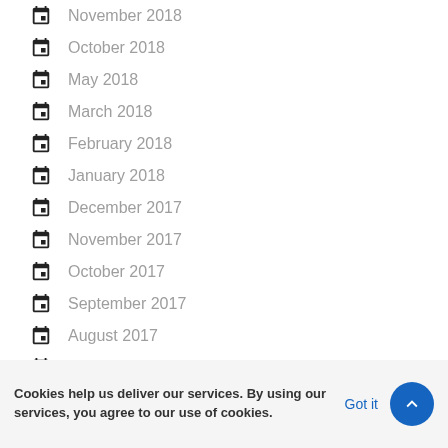November 2018
October 2018
May 2018
March 2018
February 2018
January 2018
December 2017
November 2017
October 2017
September 2017
August 2017
July 2017
June 2017
May 2017
April 2017
Cookies help us deliver our services. By using our services, you agree to our use of cookies.
Got it